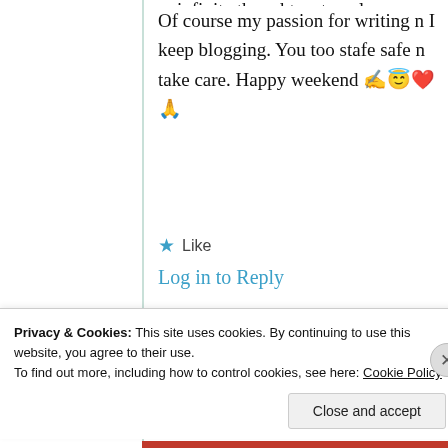Of course my passion for writing n I keep blogging. You too stafe safe n take care. Happy weekend ✍️😇❤️🙏
★ Like
Log in to Reply
[Figure (photo): Circular avatar photo showing a Buddha statue]
Jas krish
26th Jun 2021 at
Privacy & Cookies: This site uses cookies. By continuing to use this website, you agree to their use. To find out more, including how to control cookies, see here: Cookie Policy
Close and accept